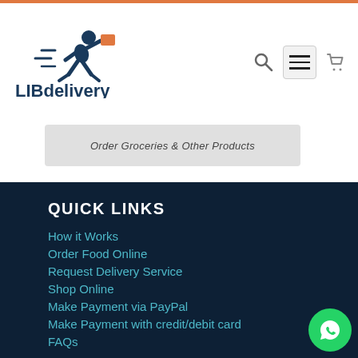[Figure (logo): LIBdelivery logo with a running courier figure carrying an orange package, and the text LIBdelivery below]
Order Groceries & Other Products
QUICK LINKS
How it Works
Order Food Online
Request Delivery Service
Shop Online
Make Payment via PayPal
Make Payment with credit/debit card
FAQs